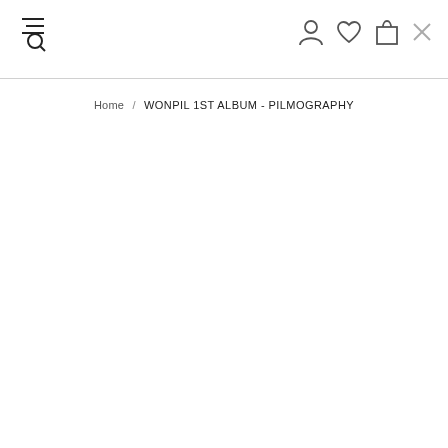Navigation header with menu, search, user, wishlist, cart, and close icons
Home / WONPIL 1ST ALBUM - PILMOGRAPHY